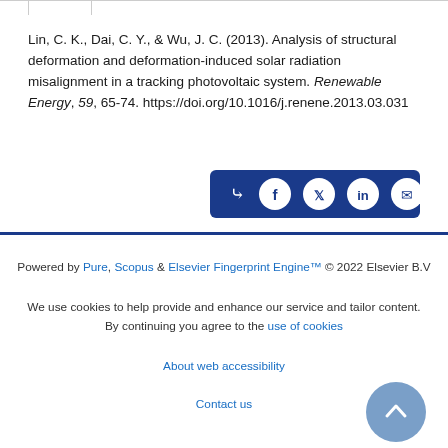Lin, C. K., Dai, C. Y., & Wu, J. C. (2013). Analysis of structural deformation and deformation-induced solar radiation misalignment in a tracking photovoltaic system. Renewable Energy, 59, 65-74. https://doi.org/10.1016/j.renene.2013.03.031
[Figure (other): Share buttons bar with icons for share, Facebook, Twitter, LinkedIn, and email on a dark blue background]
Powered by Pure, Scopus & Elsevier Fingerprint Engine™ © 2022 Elsevier B.V

We use cookies to help provide and enhance our service and tailor content. By continuing you agree to the use of cookies

About web accessibility

Contact us